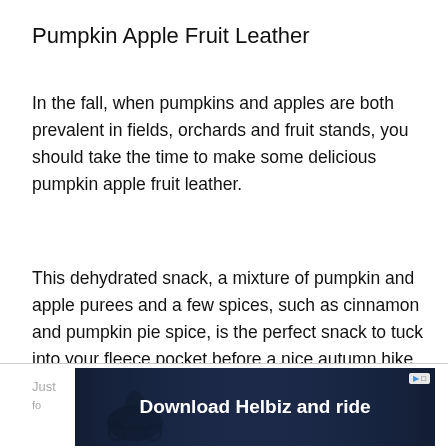Pumpkin Apple Fruit Leather
In the fall, when pumpkins and apples are both prevalent in fields, orchards and fruit stands, you should take the time to make some delicious pumpkin apple fruit leather.
This dehydrated snack, a mixture of pumpkin and apple purees and a few spices, such as cinnamon and pumpkin pie spice, is the perfect snack to tuck into your fleece pocket before a nice autumn hike.
[Figure (photo): Advertisement banner for Helbiz app showing a person on a scooter/bike with text 'Download Helbiz and ride' on a dark background, with a play button icon and close button in top right corner]